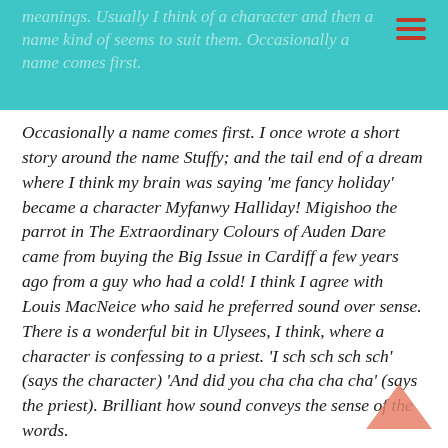meanings. Usually I think of a character and then a name kind of seems to suit them. Occasionally a name comes first.
Occasionally a name comes first. I once wrote a short story around the name Stuffy; and the tail end of a dream where I think my brain was saying 'me fancy holiday' became a character Myfanwy Halliday! Migishoo the parrot in The Extraordinary Colours of Auden Dare came from buying the Big Issue in Cardiff a few years ago from a guy who had a cold! I think I agree with Louis MacNeice who said he preferred sound over sense. There is a wonderful bit in Ulysees, I think, where a character is confessing to a priest. 'I sch sch sch sch' (says the character) 'And did you cha cha cha cha' (says the priest). Brilliant how sound conveys the sense of the words.
Which books and authors have